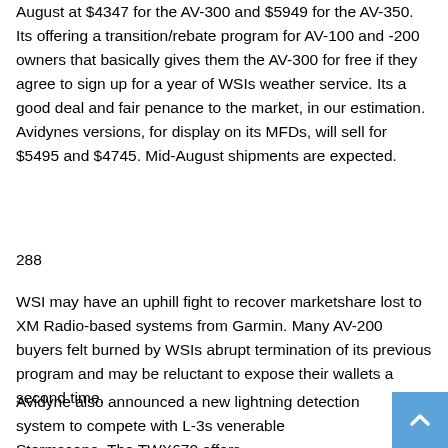August at $4347 for the AV-300 and $5949 for the AV-350. Its offering a transition/rebate program for AV-100 and -200 owners that basically gives them the AV-300 for free if they agree to sign up for a year of WSIs weather service. Its a good deal and fair penance to the market, in our estimation. Avidynes versions, for display on its MFDs, will sell for $5495 and $4745. Mid-August shipments are expected.
288
WSI may have an uphill fight to recover marketshare lost to XM Radio-based systems from Garmin. Many AV-200 buyers felt burned by WSIs abrupt termination of its previous program and may be reluctant to expose their wallets a second time.
Avidyne also announced a new lightning detection system to compete with L-3s venerable Stormscope. The TWX670 offers